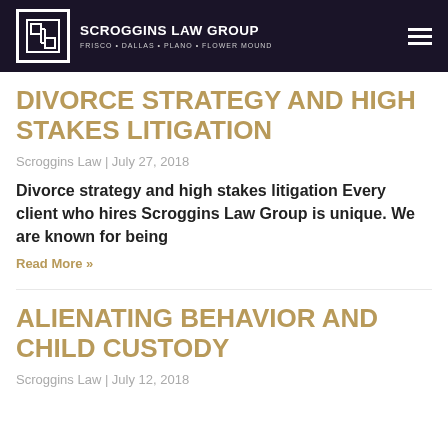SCROGGINS LAW GROUP — FRISCO • DALLAS • PLANO • FLOWER MOUND
DIVORCE STRATEGY AND HIGH STAKES LITIGATION
Scroggins Law | July 27, 2018
Divorce strategy and high stakes litigation Every client who hires Scroggins Law Group is unique. We are known for being
Read More »
ALIENATING BEHAVIOR AND CHILD CUSTODY
Scroggins Law | July 12, 2018